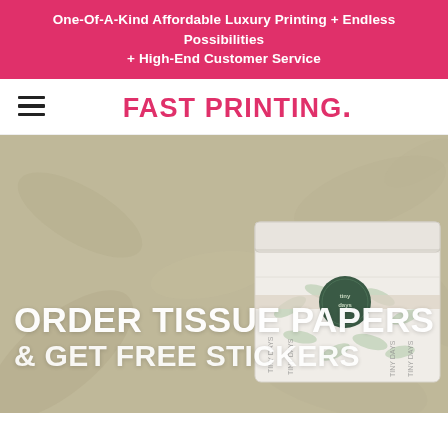One-Of-A-Kind Affordable Luxury Printing + Endless Possibilities + High-End Customer Service
[Figure (logo): Fast Printing logo with hamburger menu icon on the left and the pink bold text 'FAST PRINTING.' centered]
[Figure (photo): Hero banner with olive/tan background featuring large botanical leaf shapes. On the right is a product image of folded tissue papers with a green wax seal sticker, and on the left is large white promotional text reading 'ORDER TISSUE PAPERS & GET FREE STICKERS']
ORDER TISSUE PAPERS & GET FREE STICKERS